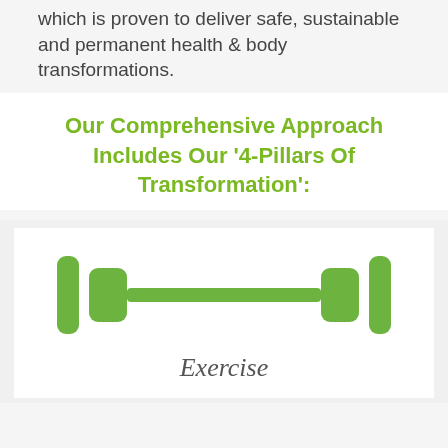which is proven to deliver safe, sustainable and permanent health & body transformations.
Our Comprehensive Approach Includes Our '4-Pillars Of Transformation':
[Figure (illustration): Green dumbbell / barbell icon with weight plates on each side]
Exercise